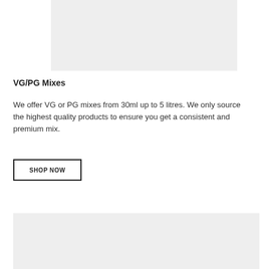[Figure (photo): Top image placeholder with light grey background]
VG/PG Mixes
We offer VG or PG mixes from 30ml up to 5 litres. We only source the highest quality products to ensure you get a consistent and premium mix.
SHOP NOW
[Figure (photo): Bottom image placeholder with light grey background]